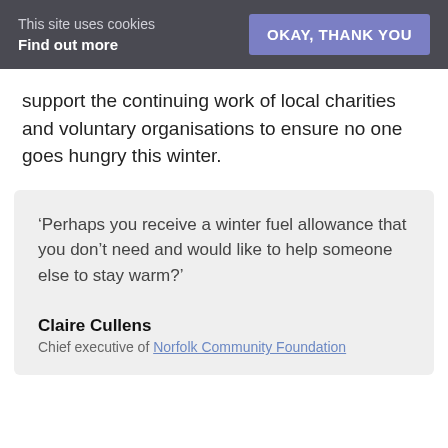This site uses cookies
Find out more
OKAY, THANK YOU
support the continuing work of local charities and voluntary organisations to ensure no one goes hungry this winter.
‘Perhaps you receive a winter fuel allowance that you don’t need and would like to help someone else to stay warm?’
Claire Cullens
Chief executive of Norfolk Community Foundation